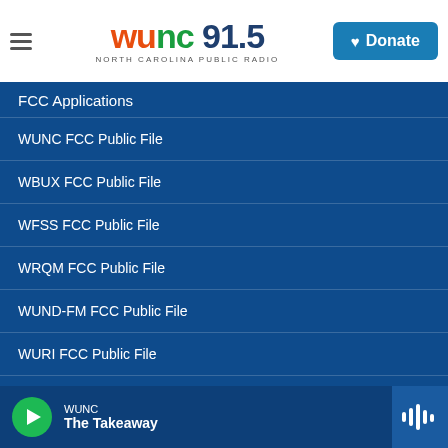[Figure (logo): WUNC 91.5 North Carolina Public Radio logo with hamburger menu and Donate button]
FCC Applications
WUNC FCC Public File
WBUX FCC Public File
WFSS FCC Public File
WRQM FCC Public File
WUND-FM FCC Public File
WURI FCC Public File
WUNW FCC Public File
WUNC — The Takeaway